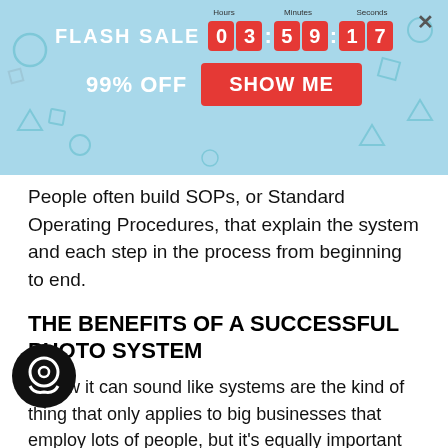[Figure (screenshot): Flash sale banner with countdown timer showing 03:59:17, 99% OFF text, SHOW ME button, and decorative geometric shapes on light blue background]
People often build SOPs, or Standard Operating Procedures, that explain the system and each step in the process from beginning to end.
THE BENEFITS OF A SUCCESSFUL PHOTO SYSTEM
I know it can sound like systems are the kind of thing that only applies to big businesses that employ lots of people, but it's equally important to sole proprietors and small businesses. When you're the one completing all the tasks a business requires, efficiency and consistency are the keys to keeping money in your pocket.